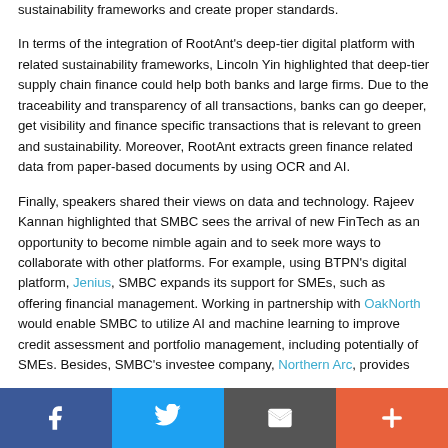sustainability frameworks and create proper standards.
In terms of the integration of RootAnt's deep-tier digital platform with related sustainability frameworks, Lincoln Yin highlighted that deep-tier supply chain finance could help both banks and large firms. Due to the traceability and transparency of all transactions, banks can go deeper, get visibility and finance specific transactions that is relevant to green and sustainability. Moreover, RootAnt extracts green finance related data from paper-based documents by using OCR and AI.
Finally, speakers shared their views on data and technology. Rajeev Kannan highlighted that SMBC sees the arrival of new FinTech as an opportunity to become nimble again and to seek more ways to collaborate with other platforms. For example, using BTPN's digital platform, Jenius, SMBC expands its support for SMEs, such as offering financial management. Working in partnership with OakNorth would enable SMBC to utilize AI and machine learning to improve credit assessment and portfolio management, including potentially of SMEs. Besides, SMBC's investee company, Northern Arc, provides